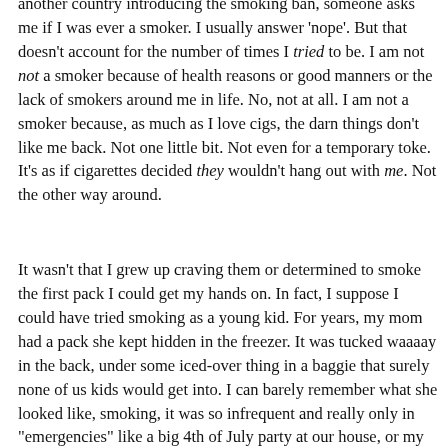another country introducing the smoking ban, someone asks me if I was ever a smoker. I usually answer 'nope'. But that doesn't account for the number of times I tried to be. I am not not a smoker because of health reasons or good manners or the lack of smokers around me in life. No, not at all. I am not a smoker because, as much as I love cigs, the darn things don't like me back. Not one little bit. Not even for a temporary toke. It's as if cigarettes decided they wouldn't hang out with me. Not the other way around.
It wasn't that I grew up craving them or determined to smoke the first pack I could get my hands on. In fact, I suppose I could have tried smoking as a young kid. For years, my mom had a pack she kept hidden in the freezer. It was tucked waaaay in the back, under some iced-over thing in a baggie that surely none of us kids would get into. I can barely remember what she looked like, smoking, it was so infrequent and really only in "emergencies" like a big 4th of July party at our house, or my godparents were visiting. I do remember thinking it was cool, even then, for my mom to have something that was sort of a secret. But a secret out in the open. Not to mention, I thought it made her look cool beyond belief. Besides, those were the days when everyone